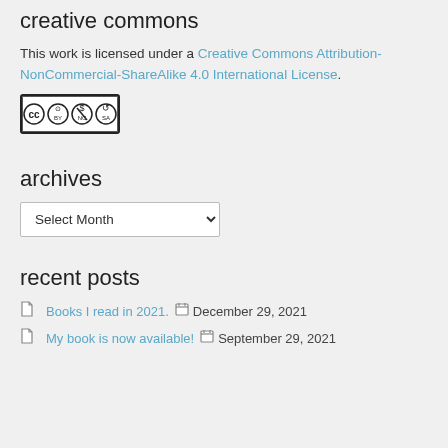creative commons
This work is licensed under a Creative Commons Attribution-NonCommercial-ShareAlike 4.0 International License.
[Figure (logo): Creative Commons BY-NC-SA license badge showing CC, BY, NC, and SA icons]
archives
Select Month (dropdown)
recent posts
Books I read in 2021. December 29, 2021
My book is now available! September 29, 2021